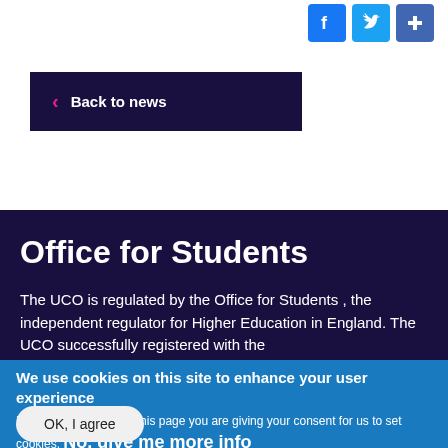[Figure (other): Social media icons: Facebook, Twitter, and a plus/share button in blue squares at top right]
< Back to news
Office for Students
The UCO is regulated by the Office for Students , the independent regulator for Higher Education in England. The UCO successfully registered with the
We use cookies on this site to enhance your user experience
By clicking any link on this page you are giving your consent for us to set cookies. No, give me more info
OK, I agree